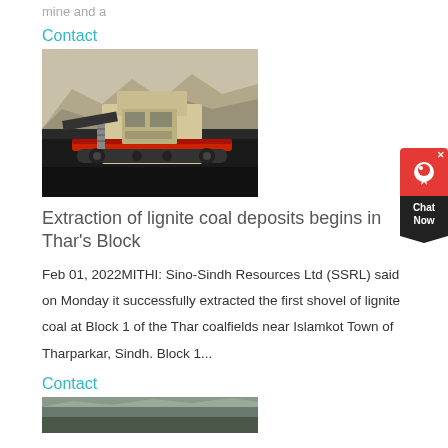mine and a
Contact
[Figure (photo): Aerial or close-up photo of a large mining crushing machine/equipment in an open-pit mine with rocky terrain in the background.]
Extraction of lignite coal deposits begins in Thar's Block
Feb 01, 2022MITHI: Sino-Sindh Resources Ltd (SSRL) said on Monday it successfully extracted the first shovel of lignite coal at Block 1 of the Thar coalfields near Islamkot Town of Tharparkar, Sindh. Block 1...
Contact
[Figure (photo): Photo of an open-pit mine or quarry site, partially visible at the bottom of the page.]